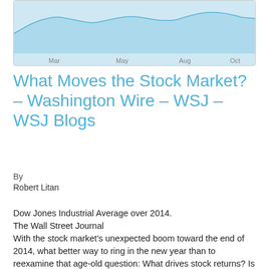[Figure (continuous-plot): Partial view of a line/area chart showing Dow Jones Industrial Average over 2014, with x-axis labels Mar, May, Aug, Oct visible. Chart has a light blue fill area.]
What Moves the Stock Market? – Washington Wire – WSJ – WSJ Blogs
By
Robert Litan
Dow Jones Industrial Average over 2014.
The Wall Street Journal
With the stock market's unexpected boom toward the end of 2014, what better way to ring in the new year than to reexamine that age-old question: What drives stock returns? Is it earnings' growth